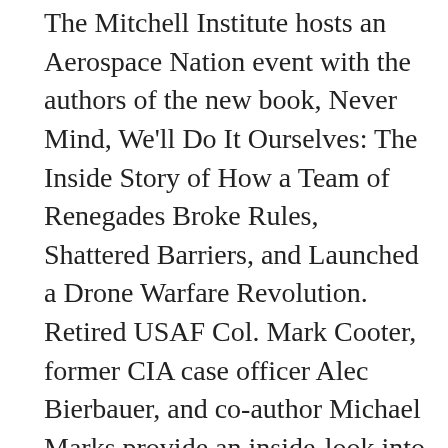The Mitchell Institute hosts an Aerospace Nation event with the authors of the new book, Never Mind, We'll Do It Ourselves: The Inside Story of How a Team of Renegades Broke Rules, Shattered Barriers, and Launched a Drone Warfare Revolution. Retired USAF Col. Mark Cooter, former CIA case officer Alec Bierbauer, and co-author Michael Marks provide an inside-look into the story behind the armed Predator program and the dawn of unmanned aerial warfare. Listen to the discussion as we look at how RPAs became a critical airpower asset. Never Mind, We'll Do It Ourselves: The Inside Story of How a Team of Renegades Broke Rules, Shattered Barriers, and Launched a Drone Warfare Revolution.